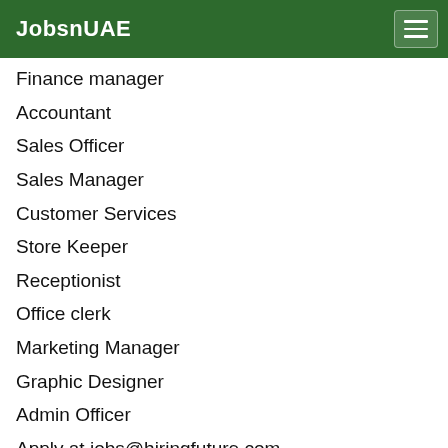JobsnUAE
Finance manager
Accountant
Sales Officer
Sales Manager
Customer Services
Store Keeper
Receptionist
Office clerk
Marketing Manager
Graphic Designer
Admin Officer
Apply at jobs@hiringfuture.com
Hit Like and comment with the job title.